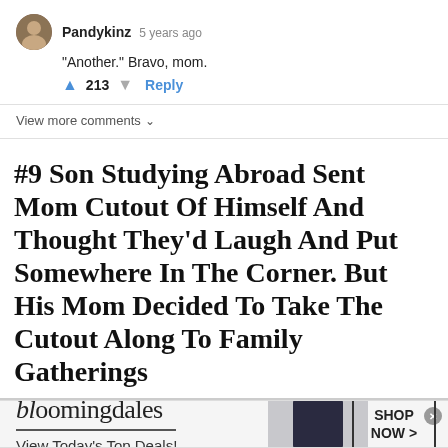Pandykinz  5 years ago
"Another." Bravo, mom.
↑ 213 ↓  Reply
View more comments ∨
#9 Son Studying Abroad Sent Mom Cutout Of Himself And Thought They'd Laugh And Put Somewhere In The Corner. But His Mom Decided To Take The Cutout Along To Family Gatherings
[Figure (screenshot): Bloomingdales advertisement banner with logo, tagline 'View Today's Top Deals!', model photo, and SHOP NOW > button]